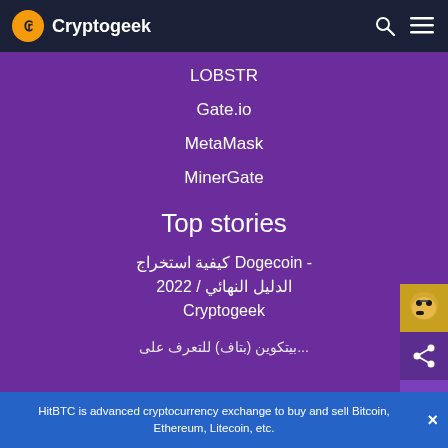Cryptogeek
LOBSTR
Gate.io
MetaMask
MinerGate
Top stories
كيفية استخراج Dogecoin - الدليل النهائي / 2022 Cryptogeek
HitBTC is advanced cryptocurrency exchange to buy and sell Bitcoin, Ethereum, Litecoin, etc.